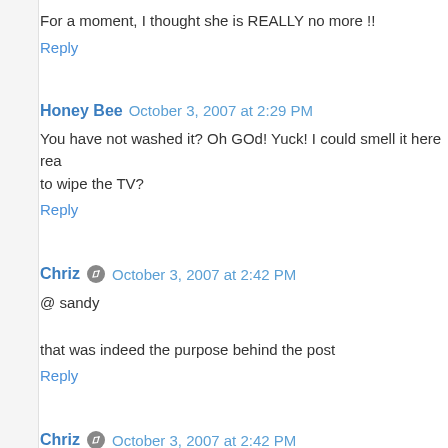For a moment, I thought she is REALLY no more !!
Reply
Honey Bee   October 3, 2007 at 2:29 PM
You have not washed it? Oh GOd! Yuck! I could smell it here rea... to wipe the TV?
Reply
Chriz   October 3, 2007 at 2:42 PM
@ sandy
that was indeed the purpose behind the post
Reply
Chriz   October 3, 2007 at 2:42 PM
@ honey bee
dunno how he managed it.. he is in ICU. he also suffered a shoc...